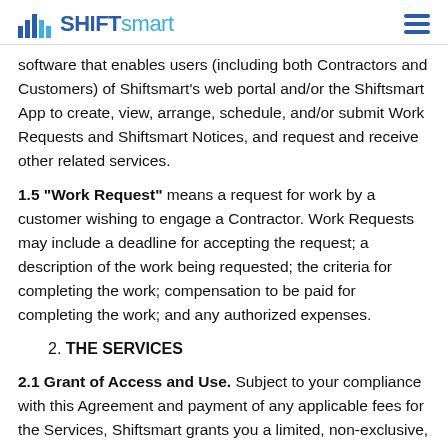SHIFTSMART
software that enables users (including both Contractors and Customers) of Shiftsmart's web portal and/or the Shiftsmart App to create, view, arrange, schedule, and/or submit Work Requests and Shiftsmart Notices, and request and receive other related services.
1.5 "Work Request" means a request for work by a customer wishing to engage a Contractor. Work Requests may include a deadline for accepting the request; a description of the work being requested; the criteria for completing the work; compensation to be paid for completing the work; and any authorized expenses.
2. THE SERVICES
2.1 Grant of Access and Use. Subject to your compliance with this Agreement and payment of any applicable fees for the Services, Shiftsmart grants you a limited, non-exclusive, non-sublicensable, revocable, non-transferrable right to access and use the Shiftsmart Platform (including installing and using the